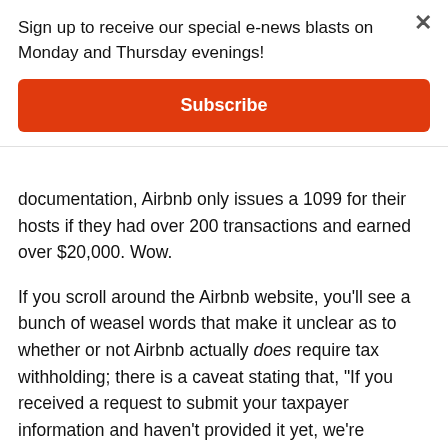Sign up to receive our special e-news blasts on Monday and Thursday evenings!
Subscribe
documentation, Airbnb only issues a 1099 for their hosts if they had over 200 transactions and earned over $20,000. Wow.
If you scroll around the Airbnb website, you'll see a bunch of weasel words that make it unclear as to whether or not Airbnb actually does require tax withholding; there is a caveat stating that, "If you received a request to submit your taxpayer information and haven't provided it yet, we're required to withhold 28% from your payouts and remit the withholdings to the Internal Revenue Service in Washington, DC. You can avoid this by submitting your